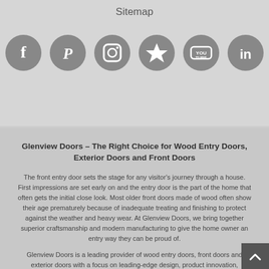Sitemap
[Figure (illustration): Six social media icon circles (Facebook, Pinterest, Instagram, a star/share icon, YouTube, LinkedIn) in gray]
Glenview Doors – The Right Choice for Wood Entry Doors, Exterior Doors and Front Doors
The front entry door sets the stage for any visitor's journey through a house. First impressions are set early on and the entry door is the part of the home that often gets the initial close look. Most older front doors made of wood often show their age prematurely because of inadequate treating and finishing to protect against the weather and heavy wear. At Glenview Doors, we bring together superior craftsmanship and modern manufacturing to give the home owner an entry way they can be proud of.
Glenview Doors is a leading provider of wood entry doors, front doors and exterior doors with a focus on leading-edge design, product innovation, manufacturing excellence and customer service. We are committed to offering a line of beautiful and durable wood entry doors and exterior doors that add elegance to any home. The front door of your home makes a lasting impression that will beautify and accentuate